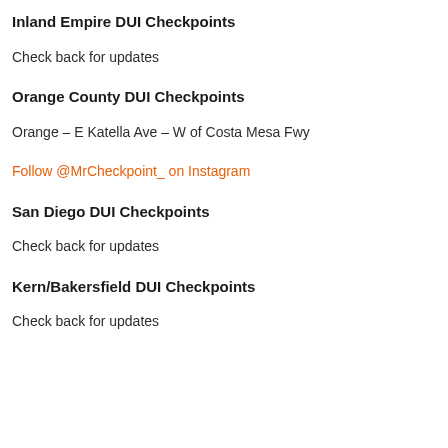Inland Empire DUI Checkpoints
Check back for updates
Orange County DUI Checkpoints
Orange – E Katella Ave – W of Costa Mesa Fwy
Follow @MrCheckpoint_ on Instagram
San Diego DUI Checkpoints
Check back for updates
Kern/Bakersfield DUI Checkpoints
Check back for updates